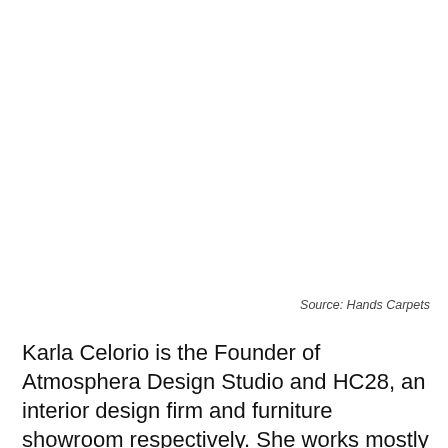Source: Hands Carpets
Karla Celorio is the Founder of Atmosphera Design Studio and HC28, an interior design firm and furniture showroom respectively. She works mostly on luxurious residences, corporate spaces and restaurants. Celerio’s carpet depicts Mexico’s natural paradise—beaches, underground sea caves, mountains and volcanoes